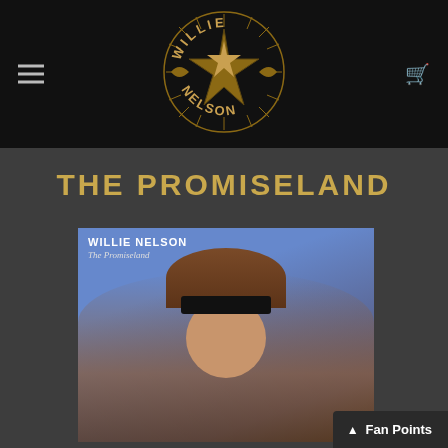[Figure (logo): Willie Nelson official logo - circular emblem with star in center, decorative elements, text 'WILLIE' arched on top and 'NELSON' arched on bottom, gold/tan color on black background]
THE PROMISELAND
[Figure (photo): Willie Nelson album cover for 'The Promiseland'. Shows Willie Nelson wearing a coonskin-style fur hat and black bandana headband against a blue background. Text on cover reads 'WILLIE NELSON' in white bold and 'The Promiseland' in italic below.]
Fan Points